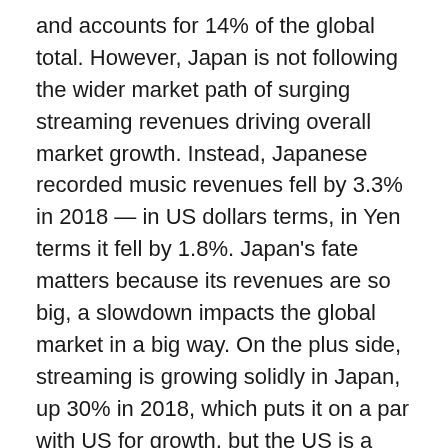and accounts for 14% of the global total. However, Japan is not following the wider market path of surging streaming revenues driving overall market growth. Instead, Japanese recorded music revenues fell by 3.3% in 2018 — in US dollars terms, in Yen terms it fell by 1.8%. Japan's fate matters because its revenues are so big, a slowdown impacts the global market in a big way. On the plus side, streaming is growing solidly in Japan, up 30% in 2018, which puts it on a par with US for growth, but the US is a much more mature streaming market with growth beginning to slow. Japan is at an earlier stage of streaming growth (physical still accounted for 69% of all revenues in 2018) so should be growing much faster than it is. Instead it only added $71 million of net new revenues in 2018, which represented just 3% of the global total of net new streaming revenues. Considering streaming revenues are growing...